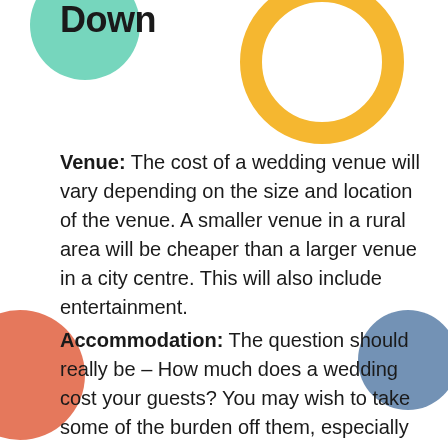Down
[Figure (illustration): Decorative green filled circle, yellow ring circle, red filled circle, and blue filled circle as background design elements]
Venue: The cost of a wedding venue will vary depending on the size and location of the venue. A smaller venue in a rural area will be cheaper than a larger venue in a city centre. This will also include entertainment.
Accommodation: The question should really be – How much does a wedding cost your guests? You may wish to take some of the burden off them, especially if you have guests travelling from out of town, they will need somewhere to stay and you may wish to foot the bill. You can either book hotel rooms for them or rent out a self-catering apartment. The